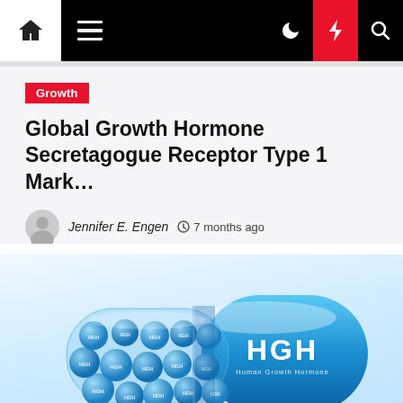Navigation bar with home, menu, moon, flash, and search icons
Growth
Global Growth Hormone Secretagogue Receptor Type 1 Mark…
Jennifer E. Engen  7 months ago
[Figure (photo): A large blue pharmaceutical capsule opened, spilling many smaller blue spherical balls all labeled 'HGH' (Human Growth Hormone). The large capsule also has 'HGH' and 'Human Growth Hormone' text printed on it. The image is on a white background.]